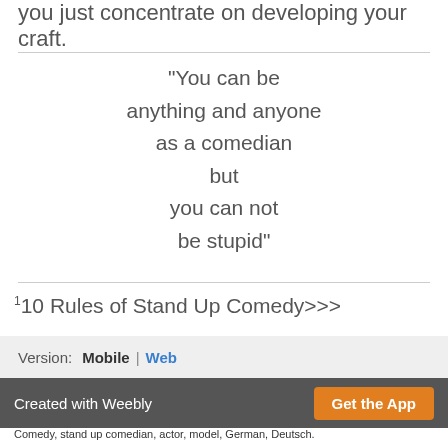you just concentrate on developing your craft.
"You can be anything and anyone as a comedian but you can not be stupid"
110 Rules of Stand Up Comedy>>>
Version:  Mobile  |  Web
Created with Weebly
Get the App
Comedy, stand up comedian, actor, model, German, Deutsch.